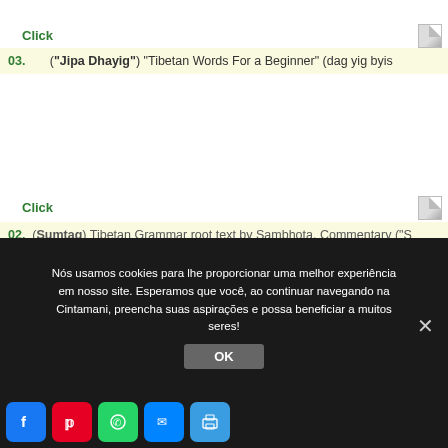Click
03. ("Jipa Dhayig") "Tibetan Words For a Beginner" (dag yig byis
Click
02. (Sumtag) Tibetan Grammar root text by Sambhota. Commentary ("S rtags si tu'i zhal lung) by Sambhota & Ngu
Nós usamos cookies para lhe proporcionar uma melhor experiência em nosso site. Esperamos que você, ao continuar navegando na Cintamani, preencha suas aspirações e possa beneficiar a muitos seres!
OK